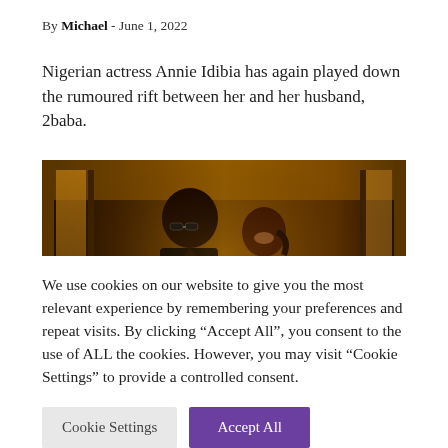By Michael - June 1, 2022
Nigerian actress Annie Idibia has again played down the rumoured rift between her and her husband, 2baba.
[Figure (photo): A man in sunglasses and a woman smiling at each other in a warmly lit corridor.]
We use cookies on our website to give you the most relevant experience by remembering your preferences and repeat visits. By clicking “Accept All”, you consent to the use of ALL the cookies. However, you may visit “Cookie Settings” to provide a controlled consent.